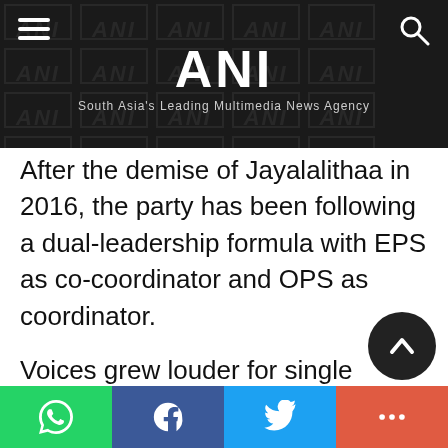ANI — South Asia's Leading Multimedia News Agency
After the demise of Jayalalithaa in 2016, the party has been following a dual-leadership formula with EPS as co-coordinator and OPS as coordinator.
Voices grew louder for single leadership in the party since the district secretary meeting on June 14. Both camps have held several rounds of talks to resolve the issue but remained unsuccessful. OPS also wrote a letter to EPS demanding postponement of the
Social share bar: WhatsApp, Facebook, Twitter, More